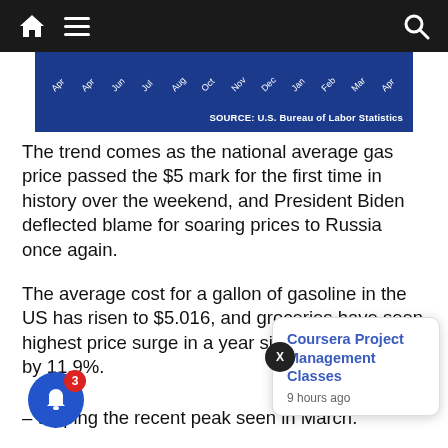Navigation bar with home, menu, and search icons
[Figure (other): Partial chart showing months labels on blue background with SOURCE: U.S. Bureau of Labor Statistics credit]
SOURCE: U.S. Bureau of Labor Statistics
The trend comes as the national average gas price passed the $5 mark for the first time in history over the weekend, and President Biden deflected blame for soaring prices to Russia once again.
The average cost for a gallon of gasoline in the US has risen to $5.016, and groceries have seen highest price surge in a year since 1979, rising by 11.9%.
A Labor Department report on Friday showed the consumer pri… the prio… – topping the recent peak seen in March.
Coursera Project Management Classes
9 hours ago